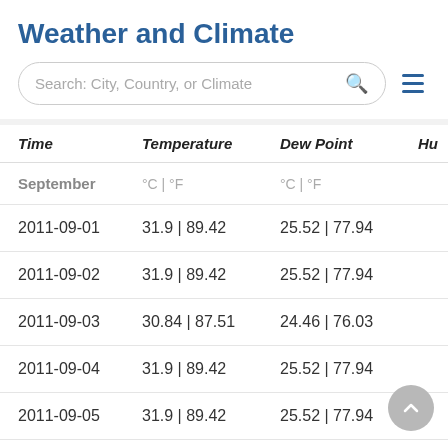Weather and Climate
Search: City, Country, or Climate
| Time | Temperature | Dew Point | Hu |
| --- | --- | --- | --- |
| September | °C | °F | °C | °F |  |
| 2011-09-01 | 31.9 | 89.42 | 25.52 | 77.94 |  |
| 2011-09-02 | 31.9 | 89.42 | 25.52 | 77.94 |  |
| 2011-09-03 | 30.84 | 87.51 | 24.46 | 76.03 |  |
| 2011-09-04 | 31.9 | 89.42 | 25.52 | 77.94 |  |
| 2011-09-05 | 31.9 | 89.42 | 25.52 | 77.94 |  |